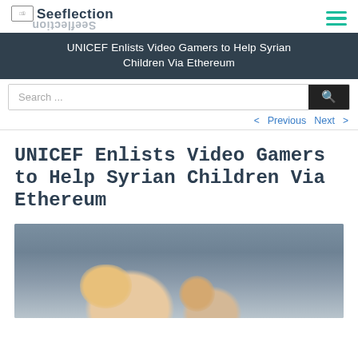Seeflection
UNICEF Enlists Video Gamers to Help Syrian Children Via Ethereum
Search ...
< Previous   Next >
UNICEF Enlists Video Gamers to Help Syrian Children Via Ethereum
[Figure (photo): Two smiling young women photographed outdoors against a cloudy sky background]